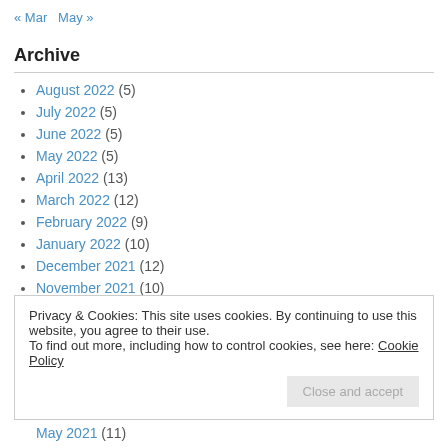« Mar   May »
Archive
August 2022 (5)
July 2022 (5)
June 2022 (5)
May 2022 (5)
April 2022 (13)
March 2022 (12)
February 2022 (9)
January 2022 (10)
December 2021 (12)
November 2021 (10)
Privacy & Cookies: This site uses cookies. By continuing to use this website, you agree to their use. To find out more, including how to control cookies, see here: Cookie Policy
May 2021 (11)